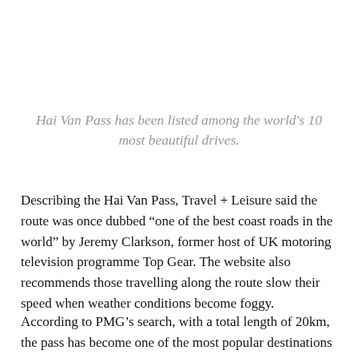Hai Van Pass has been listed among the world's 10 most beautiful drives.
Describing the Hai Van Pass, Travel + Leisure said the route was once dubbed “one of the best coast roads in the world” by Jeremy Clarkson, former host of UK motoring television programme Top Gear. The website also recommends those travelling along the route slow their speed when weather conditions become foggy.
According to PMG’s search, with a total length of 20km, the pass has become one of the most popular destinations for visitors to snap photographs on, with over 52,000